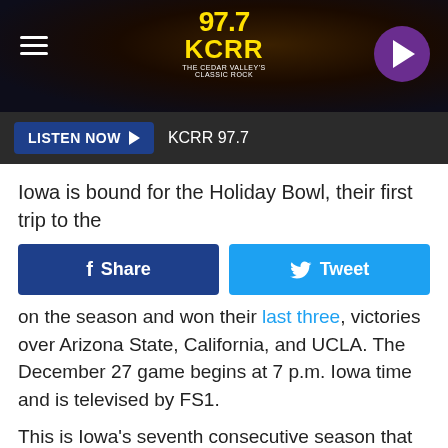[Figure (logo): 97.7 KCRR The Cedar Valley's Classic Rock radio station logo in yellow on dark background header with hamburger menu and play button]
LISTEN NOW ▶  KCRR 97.7
Iowa is bound for the Holiday Bowl, their first trip to the
[Figure (other): Social sharing buttons: Facebook Share button (dark blue) and Tweet button (light blue)]
on the season and won their last three, victories over Arizona State, California, and UCLA. The December 27 game begins at 7 p.m. Iowa time and is televised by FS1.
This is Iowa's seventh consecutive season that will conclude with a bowl game. Iowa has won its last two bowl games after losing five in a row. Iowa has played USC nine times in the program's history, winning just twice. USC has beaten Iowa six more times with the last seven occasions...